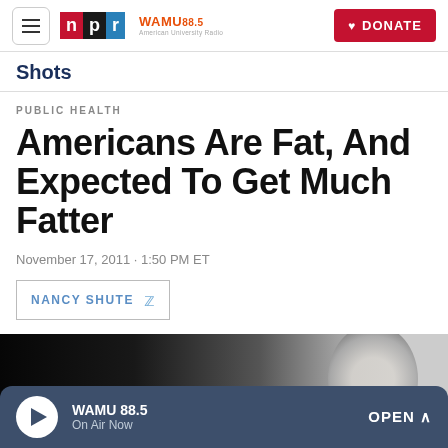NPR | WAMU 88.5 | DONATE
Shots
PUBLIC HEALTH
Americans Are Fat, And Expected To Get Much Fatter
November 17, 2011 · 1:50 PM ET
NANCY SHUTE
[Figure (photo): Black and white photo showing a person from behind, partially visible]
WAMU 88.5 On Air Now OPEN